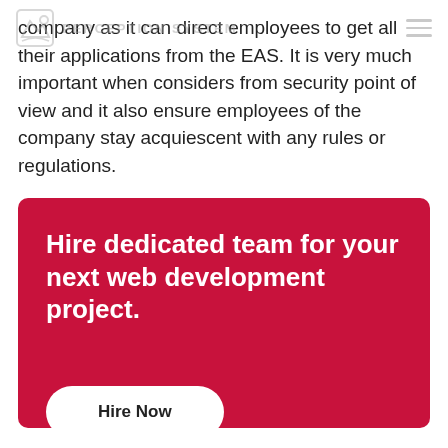PERCEPTION SYSTEM
company as it can direct employees to get all their applications from the EAS. It is very much important when considers from security point of view and it also ensure employees of the company stay acquiescent with any rules or regulations.
[Figure (infographic): Red CTA banner with bold white text 'Hire dedicated team for your next web development project.' and a white 'Hire Now' button]